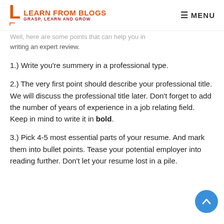LEARN FROM BLOGS — GRASP, LEARN AND GROW | MENU
Well, here are some points that can help you in writing an expert review.
1.) Write you're summery in a professional type.
2.) The very first point should describe your professional title. We will discuss the professional title later. Don't forget to add the number of years of experience in a job relating field. Keep in mind to write it in bold.
3.) Pick 4-5 most essential parts of your resume. And mark them into bullet points. Tease your potential employer into reading further. Don't let your resume lost in a pile.